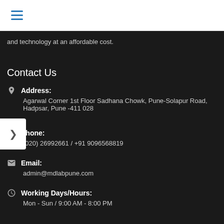≡ (hamburger menu)
and technology at an affordable cost.
Contact Us
Address: Agarwal Corner 1st Floor Sadhana Chowk, Pune-Solapur Road, Hadpsar, Pune -411 028
Phone: (020) 26992661 / +91 9096568819
Email: admin@mdlabpune.com
Working Days/Hours: Mon - Sun / 9:00 AM - 8:00 PM